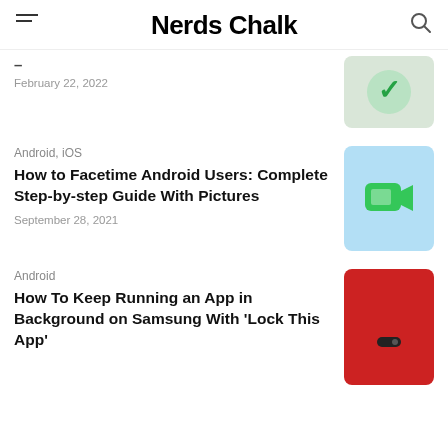Nerds Chalk
February 22, 2022
Android, iOS
How to Facetime Android Users: Complete Step-by-step Guide With Pictures
September 28, 2021
Android
How To Keep Running an App in Background on Samsung With ‘Lock This App’